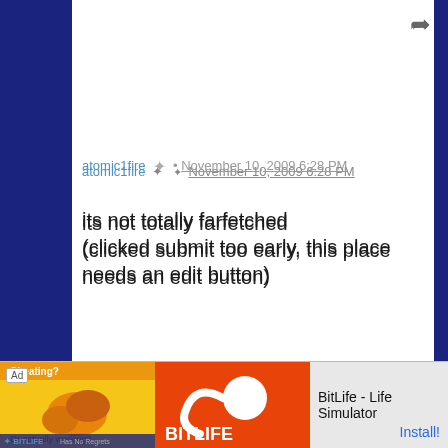atomic1fire • November 10, 2009 6:28 PM
its not totally farfetched
(clicked submit too early, this place needs an edit button)
althea18 • November 10, 2009 6:54 PM
I absolutely enjoyed every second of playing this game. What really cinched it for me was the music. It put more personality into the simple pixels.
I actually played a second time through just to
[Figure (screenshot): Ad banner: BitLife - Life Simulator with Install button]